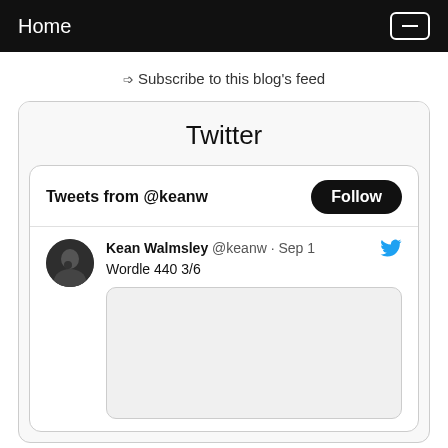Home
Subscribe to this blog's feed
Twitter
Tweets from @keanw
Kean Walmsley @keanw · Sep 1
Wordle 440 3/6